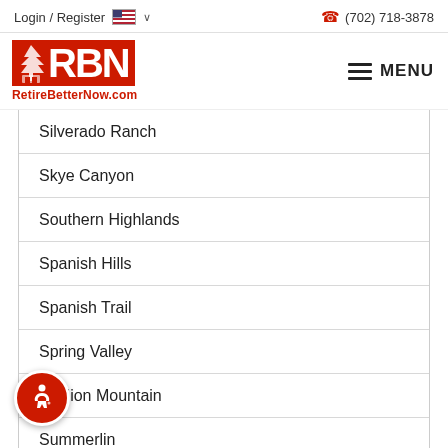Login / Register  (702) 718-3878
[Figure (logo): RBN RetireBetterNow.com logo with red background and MENU hamburger button]
Silverado Ranch
Skye Canyon
Southern Highlands
Spanish Hills
Spanish Trail
Spring Valley
Stallion Mountain
Summerlin